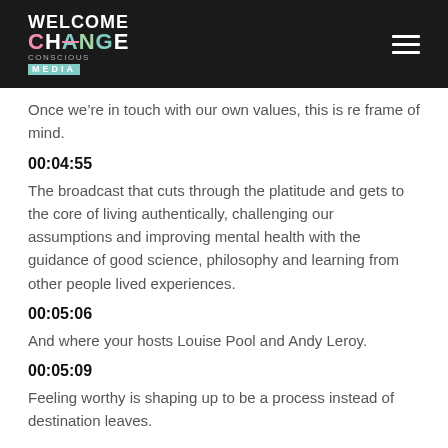WELCOME CHANGE MEDIA
Once we’re in touch with our own values, this is re frame of mind.
00:04:55
The broadcast that cuts through the platitude and gets to the core of living authentically, challenging our assumptions and improving mental health with the guidance of good science, philosophy and learning from other people lived experiences.
00:05:06
And where your hosts Louise Pool and Andy Leroy.
00:05:09
Feeling worthy is shaping up to be a process instead of destination leaves.